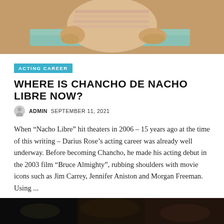[Figure (photo): Top portion of a photo showing a chubby child leaning on what appears to be a teal/turquoise surface, wearing a striped shirt, cropped at the top of the page.]
ACTING CAREER
WHERE IS CHANCHO DE NACHO LIBRE NOW?
ADMIN  SEPTEMBER 11, 2021
When “Nacho Libre” hit theaters in 2006 – 15 years ago at the time of this writing – Darius Rose’s acting career was already well underway. Before becoming Chancho, he made his acting debut in the 2003 film “Bruce Almighty”, rubbing shoulders with movie icons such as Jim Carrey, Jennifer Aniston and Morgan Freeman. Using ...
Read More  ▸   0  0
[Figure (photo): Bottom portion of another article's photo, showing a dark scene with blurred figures, partially visible at the bottom of the page.]